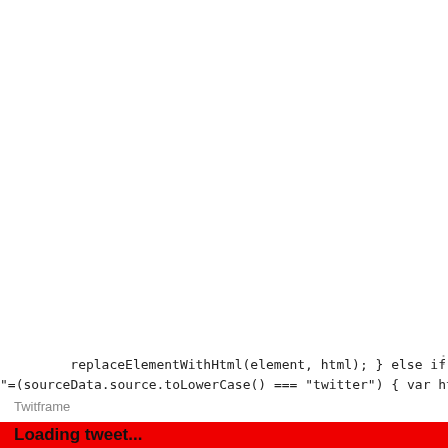replaceElementWithHtml(element, html); } else if
"=(sourceData.source.toLowerCase() === "twitter") { var html
Twitframe
Loading tweet...